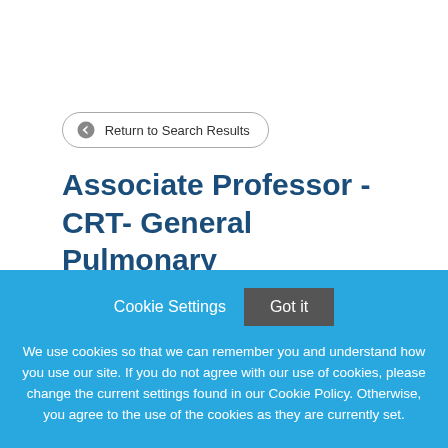Return to Search Results
Associate Professor - CRT- General Pulmonary
Discover Your Career at Emory UniversityEmory University
Cookie Settings  Got it
We use cookies so that we can remember you and understand how you use our site. If you do not agree with our use of cookies, please change the current settings found in our Cookie Policy. Otherwise, you agree to the use of the cookies as they are currently set.